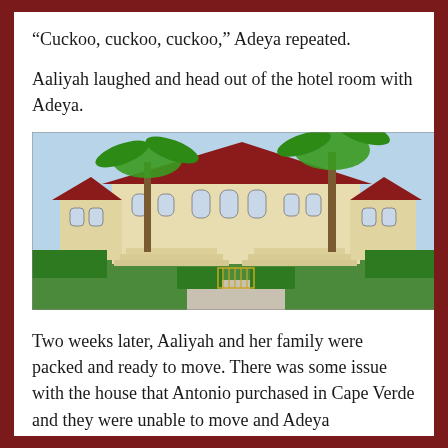“Cuckoo, cuckoo, cuckoo,” Adeya repeated.
Aaliyah laughed and head out of the hotel room with Adeya.
[Figure (illustration): 3D rendered image of a large mansion or hotel with cream-colored walls and dark red roofs, palm trees on either side, manicured green hedges, wide staircases leading to the entrance, and a gate at the front. The setting appears to be a tropical or Mediterranean-style estate.]
Two weeks later, Aaliyah and her family were packed and ready to move. There was some issue with the house that Antonio purchased in Cape Verde and they were unable to move and Adeya